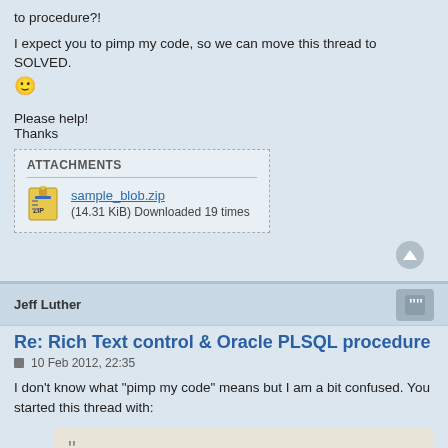to procedure?!
I expect you to pimp my code, so we can move this thread to SOLVED. 🙂
Please help!
Thanks
ATTACHMENTS
sample_blob.zip
(14.31 KiB) Downloaded 19 times
Jeff Luther
Re: Rich Text control & Oracle PLSQL procedure
10 Feb 2012, 22:35
I don't know what "pimp my code" means but I am a bit confused. You started this thread with:
Problem:
1. I used anonymous block which worked OK on most of the rtf